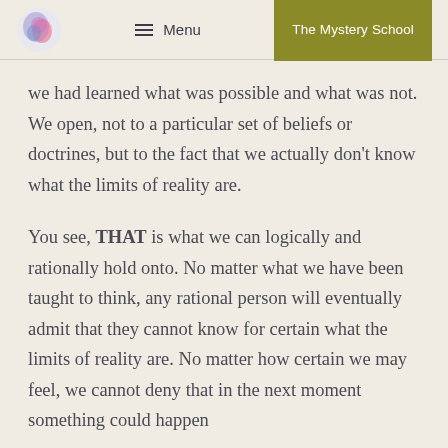Menu | The Mystery School
we had learned what was possible and what was not. We open, not to a particular set of beliefs or doctrines, but to the fact that we actually don't know what the limits of reality are.
You see, THAT is what we can logically and rationally hold onto. No matter what we have been taught to think, any rational person will eventually admit that they cannot know for certain what the limits of reality are. No matter how certain we may feel, we cannot deny that in the next moment something could happen